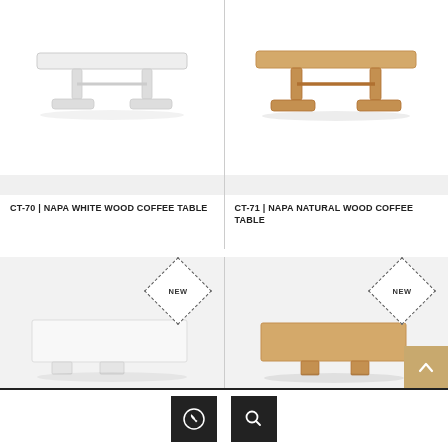[Figure (photo): CT-70 Napa White Wood Coffee Table product photo, white painted trestle-style coffee table on white background]
CT-70 | NAPA WHITE WOOD COFFEE TABLE
[Figure (photo): CT-71 Napa Natural Wood Coffee Table product photo, natural wood trestle-style coffee table on white background]
CT-71 | NAPA NATURAL WOOD COFFEE TABLE
[Figure (photo): New product - white rectangular coffee table with NEW badge diamond overlay]
[Figure (photo): New product - natural wood rectangular coffee table with NEW badge diamond overlay and back-to-top button]
Phone icon button and Search icon button